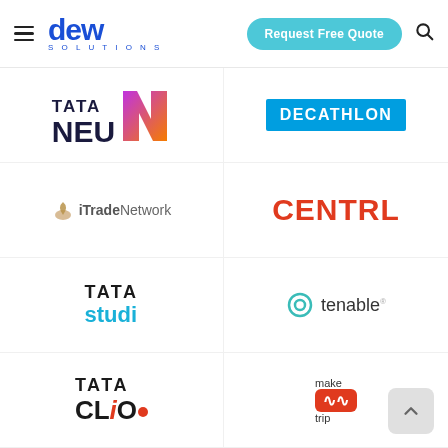dew SOLUTIONS — Request Free Quote
[Figure (logo): Tata Neu logo with colorful N graphic]
[Figure (logo): Decathlon logo — white text on blue background]
[Figure (logo): iTradeNetwork logo with leaf icon]
[Figure (logo): CENTRL logo in red/orange text]
[Figure (logo): TATA studi logo]
[Figure (logo): tenable logo with circle icon]
[Figure (logo): TATA CLiO logo with red dot]
[Figure (logo): makemytrip logo partial]